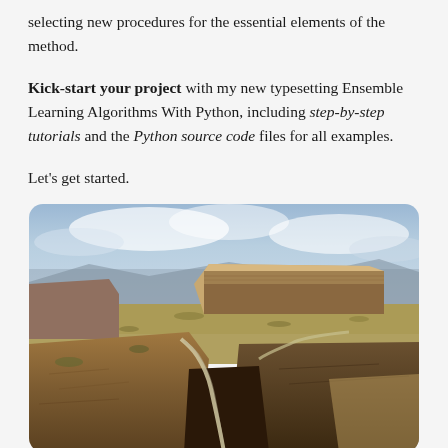selecting new procedures for the essential elements of the method.
Kick-start your project with my new typesetting Ensemble Learning Algorithms With Python, including step-by-step tutorials and the Python source code files for all examples.
Let's get started.
[Figure (photo): Landscape photograph of a desert canyon with layered rock mesa in the background, arid scrubland plains, and a winding road carved into rocky canyon walls in the foreground under a partly cloudy sky.]